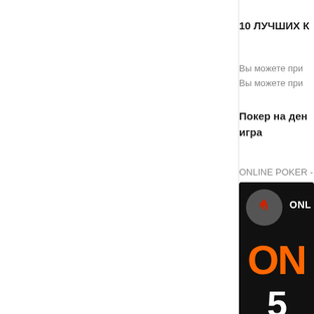10 ЛУЧШИХ К
Вы можете при
Вы можете при
Покер на ден
игра
ONLINE POKER -
[Figure (screenshot): Online poker promotional banner with dark background, orange 'ONL' text, circular icon with red flame logo, large orange letters and white numbers '5' visible at bottom]